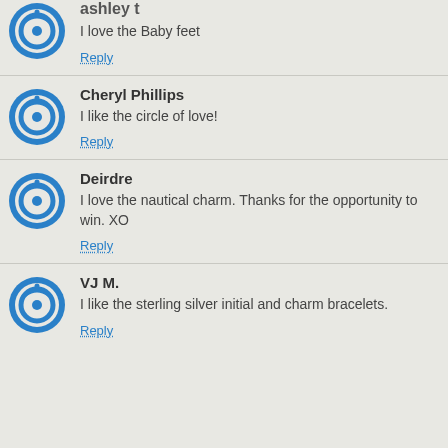ashley t
I love the Baby feet
Reply
Cheryl Phillips
I like the circle of love!
Reply
Deirdre
I love the nautical charm. Thanks for the opportunity to win. XO
Reply
VJ M.
I like the sterling silver initial and charm bracelets.
Reply